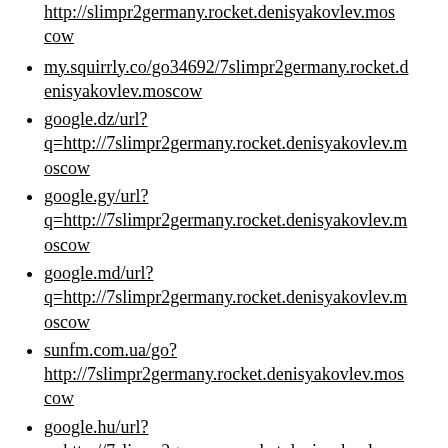http://slimpr2germany.rocket.denisyakovlev.moscow (partial, continuation)
my.squirrly.co/go34692/7slimpr2germany.rocket.denisyakovlev.moscow
google.dz/url?q=http://7slimpr2germany.rocket.denisyakovlev.moscow
google.gy/url?q=http://7slimpr2germany.rocket.denisyakovlev.moscow
google.md/url?q=http://7slimpr2germany.rocket.denisyakovlev.moscow
sunfm.com.ua/go?http://7slimpr2germany.rocket.denisyakovlev.moscow
google.hu/url?q=http://7slimpr2germany.rocket.denisyakovlev.moscow